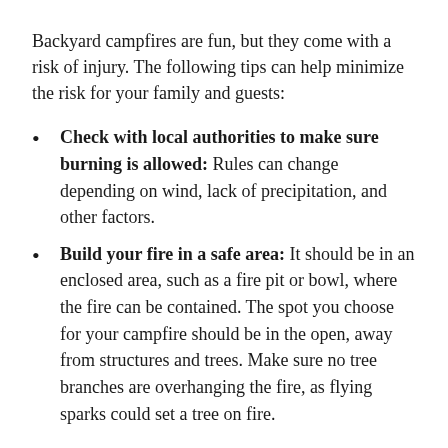Backyard campfires are fun, but they come with a risk of injury. The following tips can help minimize the risk for your family and guests:
Check with local authorities to make sure burning is allowed: Rules can change depending on wind, lack of precipitation, and other factors.
Build your fire in a safe area: It should be in an enclosed area, such as a fire pit or bowl, where the fire can be contained. The spot you choose for your campfire should be in the open, away from structures and trees. Make sure no tree branches are overhanging the fire, as flying sparks could set a tree on fire.